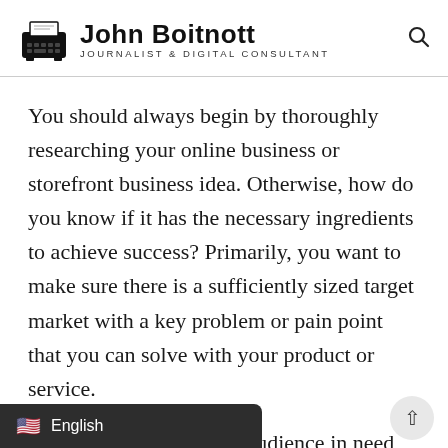John Boitnott — Journalist & Digital Consultant
You should always begin by thoroughly researching your online business or storefront business idea. Otherwise, how do you know if it has the necessary ingredients to achieve success? Primarily, you want to make sure there is a sufficiently sized target market with a key problem or pain point that you can solve with your product or service.
Without that sustainable audience in need y…amount of passion will lead to a